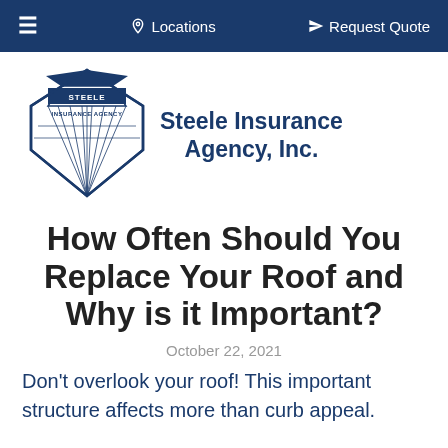≡   Locations   ➤ Request Quote
[Figure (logo): Steele Insurance Agency diamond logo with 'INSURANCE AGENCY' text inside]
Steele Insurance Agency, Inc.
How Often Should You Replace Your Roof and Why is it Important?
October 22, 2021
Don't overlook your roof! This important structure affects more than curb appeal.